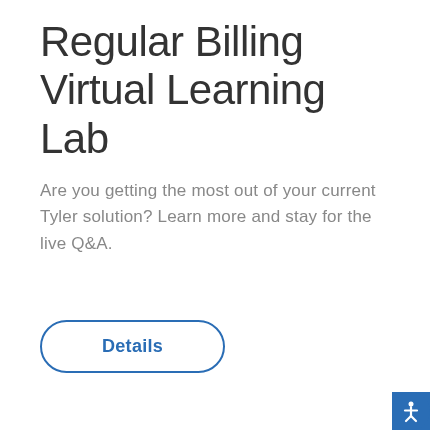Regular Billing Virtual Learning Lab
Are you getting the most out of your current Tyler solution? Learn more and stay for the live Q&A.
Details